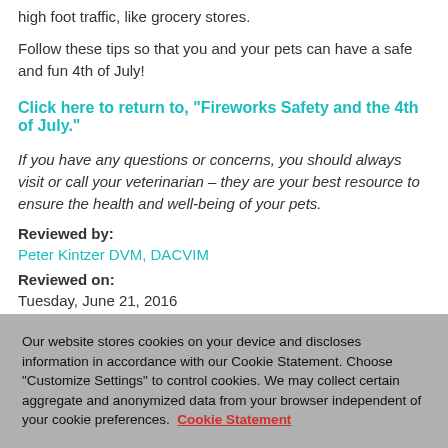high foot traffic, like grocery stores.
Follow these tips so that you and your pets can have a safe and fun 4th of July!
Click here to return to, "Fireworks Safety and the 4th of July."
If you have any questions or concerns, you should always visit or call your veterinarian – they are your best resource to ensure the health and well-being of your pets.
Reviewed by:
Peter Kintzer DVM, DACVIM
Reviewed on:
Tuesday, June 21, 2016
Our website stores cookies on your device and discloses information in accordance with our Cookie Statement. Choose "Customize Settings" to control cookies. We may collect certain aggregate and anonymized data from your browser independent of your cookie preferences. Cookie Statement